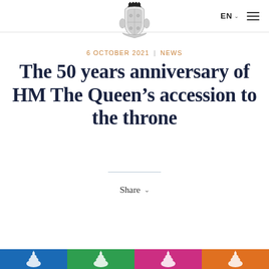EN  ≡
[Figure (logo): Royal coat of arms / crest logo centered at top of page]
6 OCTOBER 2021 | NEWS
The 50 years anniversary of HM The Queen's accession to the throne
Share
[Figure (illustration): Bottom decorative bar with coloured segments (blue, green, pink/magenta, orange) each containing a white ornamental royal crest motif]